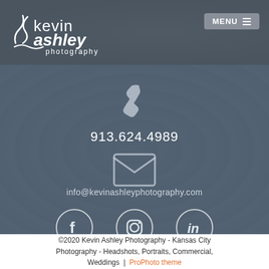[Figure (logo): Kevin Ashley Photography logo - white text on dark background with decorative swirl]
MENU
913.624.4989
info@kevinashleyphotography.com
[Figure (illustration): Facebook, Instagram, and LinkedIn social media icons in circular outlines]
©2020 Kevin Ashley Photography - Kansas City Photography - Headshots, Portraits, Commercial, Weddings  |  ProPhoto theme